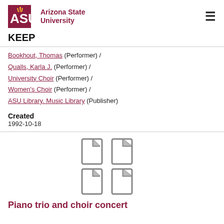[Figure (logo): Arizona State University logo with ASU text and sunburst icon]
KEEP
Bookhout, Thomas (Performer) / Qualls, Karla J. (Performer) / University Choir (Performer) / Women's Choir (Performer) / ASU Library. Music Library (Publisher)
Created
1992-10-18
[Figure (illustration): Four document/page icons arranged in a 2x2 grid]
Piano trio and choir concert